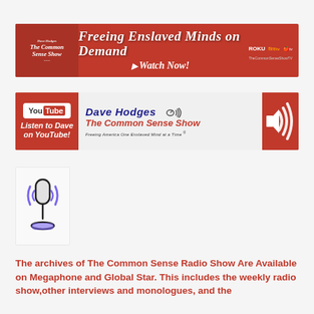[Figure (screenshot): The Common Sense Show banner ad: red background with text 'Freeing Enslaved Minds on Demand - Watch Now!' and Roku/Fire TV/Apple TV logos]
[Figure (screenshot): YouTube banner: Listen to Dave on YouTube - Dave Hodges The Common Sense Show - Freeing America One Enslaved Mind at a Time]
[Figure (illustration): Microphone icon with sound waves in blue and dark colors on light background]
The archives of The Common Sense Radio Show Are Available on Megaphone and Global Star.  This includes the weekly radio show,other interviews and monologues, and the CSS radio archives. Listen at...